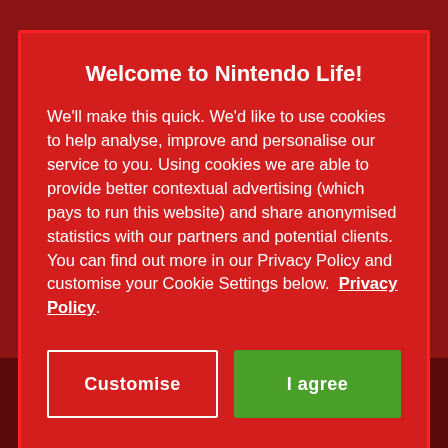[Figure (screenshot): Cookie consent modal dialog for Nintendo Life website. Red background with Mario-themed decorative pattern. Contains title 'Welcome to Nintendo Life!', body text about cookie usage and privacy policy, a 'Customise' button with white border, and a green 'I agree' button. Below the modal is a dark red background with blurred social media icons (YouTube, Twitter, Facebook, Snapchat, Instagram).]